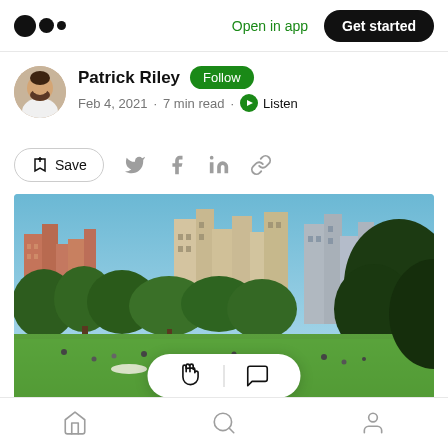Medium logo | Open in app | Get started
Patrick Riley  Follow
Feb 4, 2021 · 7 min read · Listen
Save (bookmark icon) | Twitter | Facebook | LinkedIn | Link
[Figure (photo): Central Park lawn with people playing, green trees in foreground, Manhattan skyline with tall buildings in background, clear blue sky]
Clap icon | Comment icon (reaction bar)
Home | Search | Profile (bottom navigation)